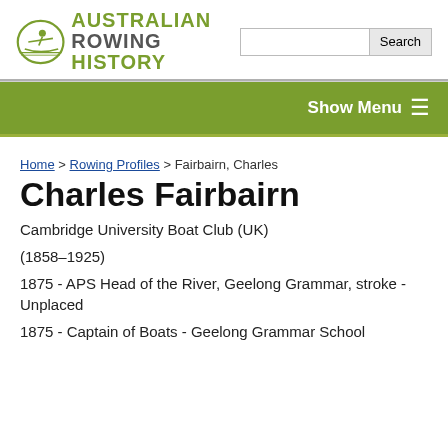[Figure (logo): Australian Rowing History logo with rower icon and green/grey text]
Search
Show Menu
Home > Rowing Profiles > Fairbairn, Charles
Charles Fairbairn
Cambridge University Boat Club (UK)
(1858–1925)
1875 - APS Head of the River, Geelong Grammar, stroke - Unplaced
1875 - Captain of Boats - Geelong Grammar School